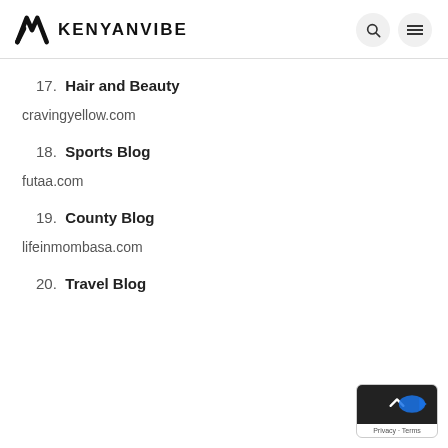KENYANVIBE
17. Hair and Beauty
cravingyellow.com
18. Sports Blog
futaa.com
19. County Blog
lifeinmombasa.com
20. Travel Blog